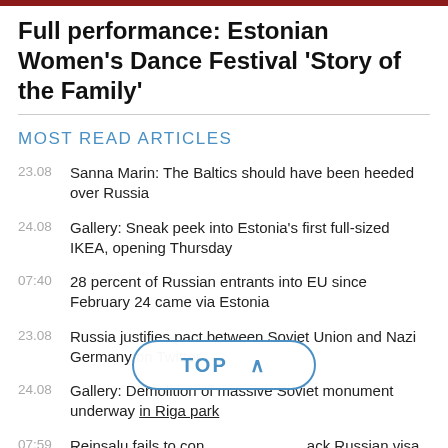Full performance: Estonian Women's Dance Festival 'Story of the Family'
MOST READ ARTICLES
23.08  Sanna Marin: The Baltics should have been heeded over Russia
24.08  Gallery: Sneak peek into Estonia's first full-sized IKEA, opening Thursday
07:40  28 percent of Russian entrants into EU since February 24 came via Estonia
23.08  Russia justifies pact between Soviet Union and Nazi Germany on Twitter
24.08  Gallery: Demolition of massive Soviet monument underway in Riga park
07:59  Reinsalu fails to convince allies to back Russian visa ban